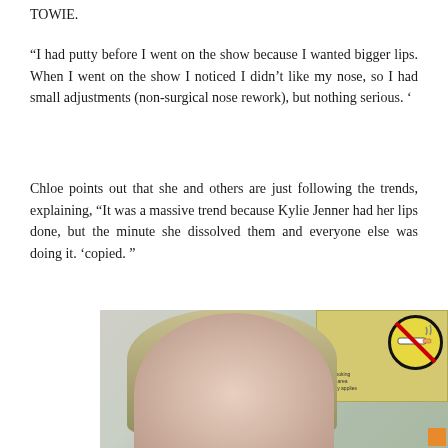TOWIE.
“I had putty before I went on the show because I wanted bigger lips. When I went on the show I noticed I didn’t like my nose, so I had small adjustments (non-surgical nose rework), but nothing serious. ‘
Chloe points out that she and others are just following the trends, explaining, “It was a massive trend because Kylie Jenner had her lips done, but the minute she dissolved them and everyone else was doing it. ‘copied. ”
[Figure (photo): Photo of a woman with long straight blonde/grey hair taking a selfie. In the background is a yellow no-smoking sign and green trees.]